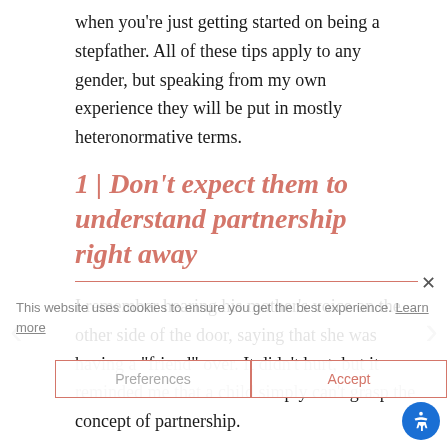when you're just getting started on being a stepfather. All of these tips apply to any gender, but speaking from my own experience they will be put in mostly heteronormative terms.
1 | Don't expect them to understand partnership right away
I remember hearing his mother's voice on the other side of the door, saying that she was having a "friend" over. It didn't hurt, but it reminded me that a child simply can't grasp the concept of partnership.
After all, he was used to his dad living in